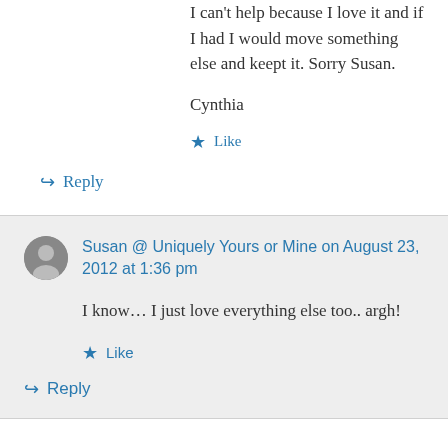I can't help because I love it and if I had I would move something else and keept it. Sorry Susan.
Cynthia
★ Like
↪ Reply
Susan @ Uniquely Yours or Mine on August 23, 2012 at 1:36 pm
I know… I just love everything else too.. argh!
★ Like
↪ Reply